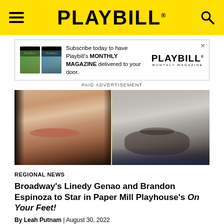PLAYBILL
[Figure (infographic): Playbill Monthly Magazine subscription advertisement banner]
PAID ADVERTISEMENT
[Figure (photo): Two side-by-side cropped headshots: a woman (left) showing lips and neck, and a man (right) with beard and mustache. Photos split by a yellow vertical line.]
REGIONAL NEWS
Broadway's Linedy Genao and Brandon Espinoza to Star in Paper Mill Playhouse's On Your Feet!
By Leah Putnam | August 30, 2022
Genao takes on the role of Gloria Estefan at the New Jersey theatre after making her Broadway debut in the musical.